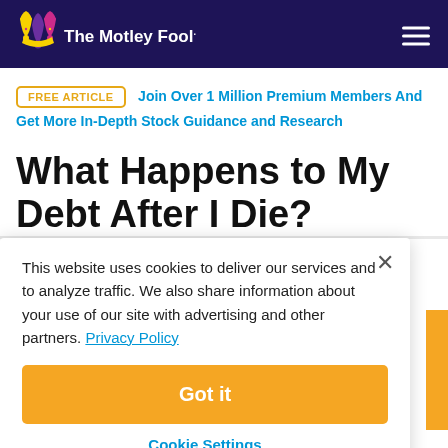The Motley Fool
FREE ARTICLE  Join Over 1 Million Premium Members And Get More In-Depth Stock Guidance and Research
What Happens to My Debt After I Die?
This website uses cookies to deliver our services and to analyze traffic. We also share information about your use of our site with advertising and other partners. Privacy Policy
Got it
Cookie Settings